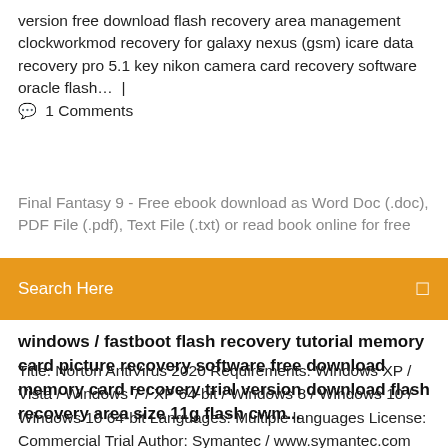version free download flash recovery area management clockworkmod recovery for galaxy nexus (gsm) icare data recovery pro 5.1 key nikon camera card recovery software oracle flash…  |  💬 1 Comments
Final Fantasy 9 - Free ebook download as Word Doc (.doc), PDF File (.pdf), Text File (.txt) or read book online for free
Search Here
windows / fastboot flash recovery tutorial memory card picture recovery software free download memory card recovery trial version download flash recovery area size 11g flash cwm...
Title: Norton AntiVirus 2020 Requirements: Windows XP / Vista / Windows 7 / XP 64-bit / Windows 8 / Windows 10 / Windows 10 64-bit Languages: Multiple languages License: Commercial Trial Author: Symantec / www.symantec.com GOM Cam 2020 Free Download GOM Cam 2020 Free Download Latest Version – GOM Cam can be a pc video-capture app that is full of useful